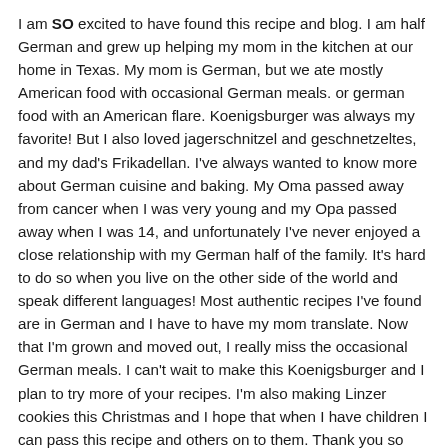I am SO excited to have found this recipe and blog. I am half German and grew up helping my mom in the kitchen at our home in Texas. My mom is German, but we ate mostly American food with occasional German meals. or german food with an American flare. Koenigsburger was always my favorite! But I also loved jagerschnitzel and geschnetzeltes, and my dad's Frikadellan. I've always wanted to know more about German cuisine and baking. My Oma passed away from cancer when I was very young and my Opa passed away when I was 14, and unfortunately I've never enjoyed a close relationship with my German half of the family. It's hard to do so when you live on the other side of the world and speak different languages! Most authentic recipes I've found are in German and I have to have my mom translate. Now that I'm grown and moved out, I really miss the occasional German meals. I can't wait to make this Koenigsburger and I plan to try more of your recipes. I'm also making Linzer cookies this Christmas and I hope that when I have children I can pass this recipe and others on to them. Thank you so much for this blog!